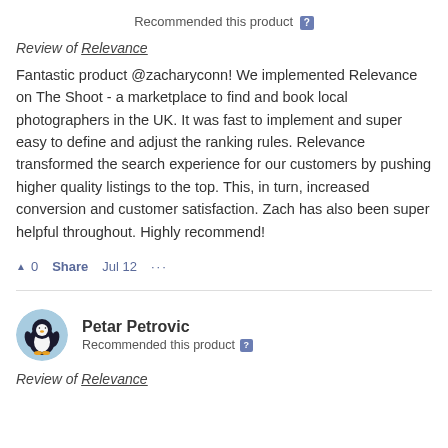Recommended this product ?
Review of Relevance
Fantastic product @zacharyconn! We implemented Relevance on The Shoot - a marketplace to find and book local photographers in the UK. It was fast to implement and super easy to define and adjust the ranking rules. Relevance transformed the search experience for our customers by pushing higher quality listings to the top. This, in turn, increased conversion and customer satisfaction. Zach has also been super helpful throughout. Highly recommend!
▲ 0   Share   Jul 12   ...
Petar Petrovic
Recommended this product ?
Review of Relevance